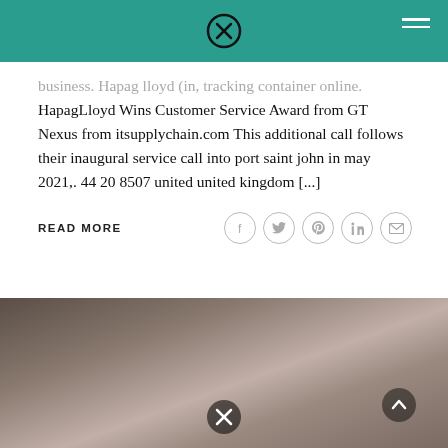Header bar with close icon and hamburger menu
business. Hapag lloyd (in, tracking container online. HapagLloyd Wins Customer Service Award from GT Nexus from itsupplychain.com This additional call follows their inaugural service call into port saint john in may 2021,. 44 20 8507 united united kingdom [...]
READ MORE
[Figure (photo): Close-up photo of animal fur, brownish-grey tones, with a hand visible at the edge]